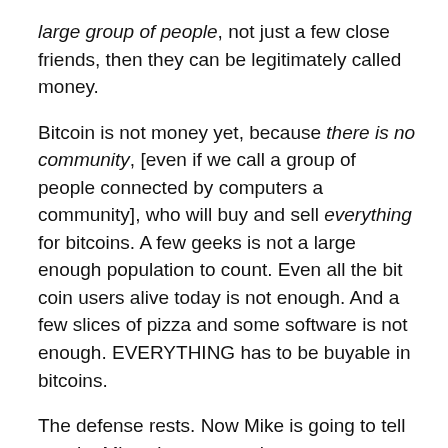large group of people, not just a few close friends, then they can be legitimately called money.
Bitcoin is not money yet, because there is no community, [even if we call a group of people connected by computers a community], who will buy and sell everything for bitcoins. A few geeks is not a large enough population to count. Even all the bit coin users alive today is not enough. And a few slices of pizza and some software is not enough. EVERYTHING has to be buyable in bitcoins.
The defense rests. Now Mike is going to tell us why Mises is wrong, to boot. Tell you what, I'll paraphrase, because he is very long winded. You have the link if you want further clarification, or to see if I am summarizing him correctly.